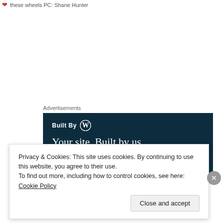these wheels PC: Shane Hunter
Advertisements
[Figure (screenshot): WordPress 'Built By WordPress' advertisement banner with dark navy background. Text reads 'Built By [WordPress logo]' and 'Your site. Built by us. Built for you.']
Privacy & Cookies: This site uses cookies. By continuing to use this website, you agree to their use.
To find out more, including how to control cookies, see here: Cookie Policy